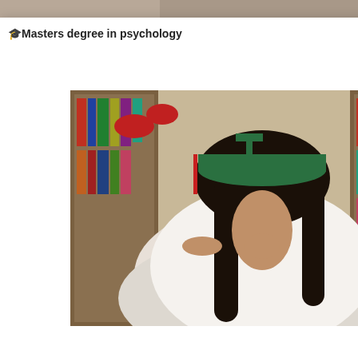[Figure (screenshot): Top strip showing partial image at top of page]
[Figure (screenshot): White popup/dialog card with graduation photo of a young woman in cap and gown posing in a library. Dialog shows title text and a thumbnail in upper right with close X button.]
🎓Masters degree in psychology
[Figure (screenshot): Small thumbnail image in dialog upper right corner showing a person]
[Figure (photo): Main photo: young woman in green graduation cap and white dress/gown, posing lying down in library between bookshelves, smiling at camera]
ября 2015
L SD
2sd
[Figure (screenshot): YouTube play button (red rounded rectangle with white triangle)]
[Figure (screenshot): Dark video thumbnail on right side showing a young woman]
[Figure (screenshot): Video strip showing two side-by-side video thumbnails of a young woman in a floral shirt]
[Figure (screenshot): Bottom large dark video area showing a young woman's face, partially cut off at bottom of page]